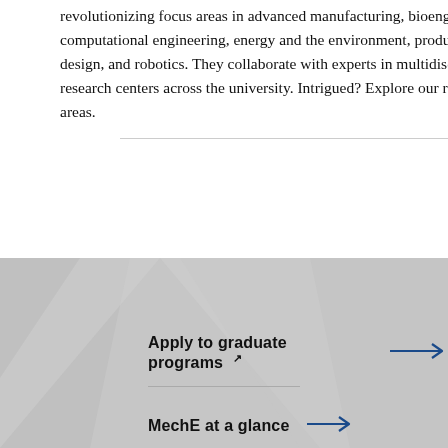revolutionizing focus areas in advanced manufacturing, bioengineering, computational engineering, energy and the environment, product design, and robotics. They collaborate with experts in multidisciplinary research centers across the university. Intrigued? Explore our research areas.
[Figure (illustration): Gray geometric polygon background with two navigation link rows: 'Apply to graduate programs' with external link icon and blue arrow, and 'MechE at a glance' with blue arrow, separated by a horizontal divider.]
Apply to graduate programs ↗ →
MechE at a glance →